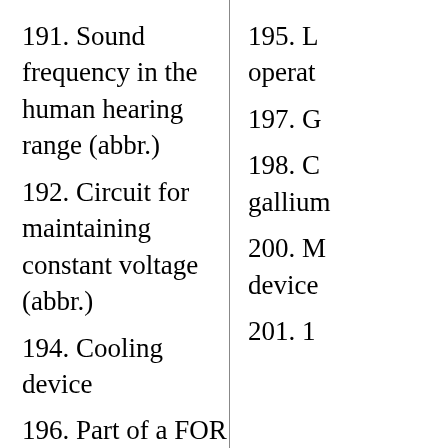191. Sound frequency in the human hearing range (abbr.)
192. Circuit for maintaining constant voltage (abbr.)
194. Cooling device
196. Part of a FOR loop
197. Charged particle
198. Chemical symbol for gallium
195. L... operat...
197. G...
198. C... gallium...
200. M... device...
201. 1...